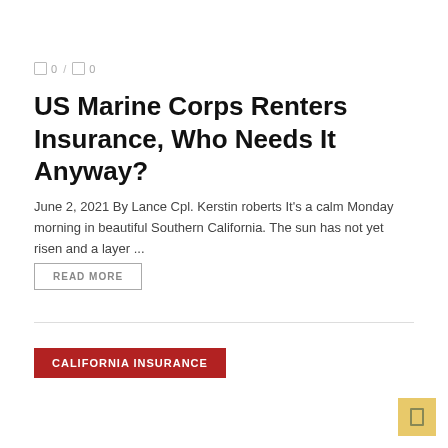0 / 0
US Marine Corps Renters Insurance, Who Needs It Anyway?
June 2, 2021 By Lance Cpl. Kerstin roberts It’s a calm Monday morning in beautiful Southern California. The sun has not yet risen and a layer ...
READ MORE
CALIFORNIA INSURANCE